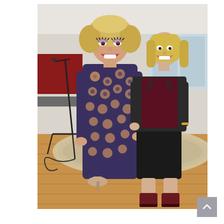[Figure (photo): Two people posing together indoors. On the left, a person in drag wearing a floral patterned long-sleeve midi dress with beige heels and blonde curly hair with dramatic makeup and a big smile. On the right, a blonde woman wearing a black blazer over a dark burgundy/maroon top, black skirt, and dark burgundy ankle boots, also smiling. They are standing on a hardwood floor with a decorative area rug behind them and a microphone stand visible on the left side. The background shows a room with windows and walls.]